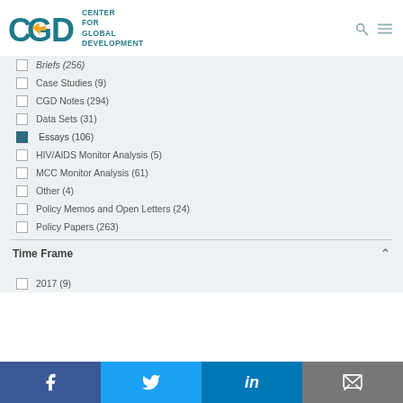[Figure (logo): CGD Center for Global Development logo with teal letters and yellow arrow]
Briefs (256)
Case Studies (9)
CGD Notes (294)
Data Sets (31)
Essays (106) [checked]
HIV/AIDS Monitor Analysis (5)
MCC Monitor Analysis (61)
Other (4)
Policy Memos and Open Letters (24)
Policy Papers (263)
Time Frame
2017 (9)
Facebook | Twitter | LinkedIn | Email